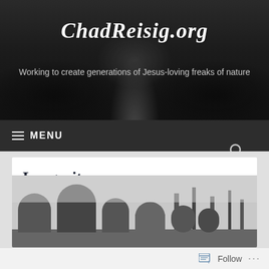ChadReisig.org — Working to create generations of Jesus-loving freaks of nature
Longevity
[Figure (screenshot): Screenshot of ChadReisig.org website showing a header banner with a dark road/forest background, site title 'ChadReisig.org' in cursive white text, subtitle 'Working to create generations of Jesus-loving freaks of nature', a dark navigation bar with MENU and search icon, a white article card with the title 'Longevity', and a black-and-white graveyard photo below.]
Follow ...